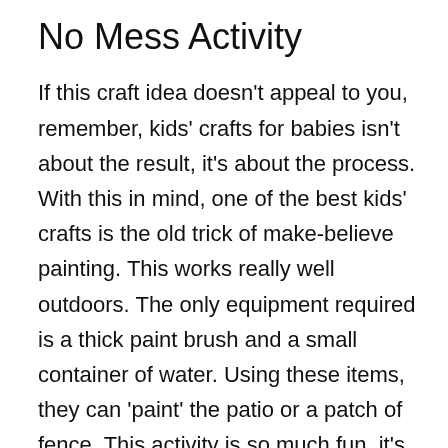No Mess Activity
If this craft idea doesn't appeal to you, remember, kids' crafts for babies isn't about the result, it's about the process. With this in mind, one of the best kids' crafts is the old trick of make-believe painting. This works really well outdoors. The only equipment required is a thick paint brush and a small container of water. Using these items, they can 'paint' the patio or a patch of fence. This activity is so much fun, it's 'messy', it imitates something they have seen adults do and it produces an end result.
Starting with Play Dough